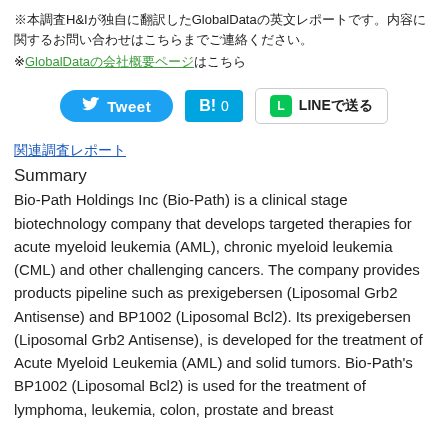※本調査H&Iが独自に翻訳したGlobalDataの英文レポートです。内容に関するお問い合わせはこちらまでご連絡ください。
※GlobalDataの会社概要ページはこちら
[Figure (screenshot): Social sharing buttons: Tweet (Twitter), B! 0 (Hatena Bookmark), LINEで送る (LINE share)]
関連調査レポート
Summary
Bio-Path Holdings Inc (Bio-Path) is a clinical stage biotechnology company that develops targeted therapies for acute myeloid leukemia (AML), chronic myeloid leukemia (CML) and other challenging cancers. The company provides products pipeline such as prexigebersen (Liposomal Grb2 Antisense) and BP1002 (Liposomal Bcl2). Its prexigebersen (Liposomal Grb2 Antisense), is developed for the treatment of Acute Myeloid Leukemia (AML) and solid tumors. Bio-Path's BP1002 (Liposomal Bcl2) is used for the treatment of lymphoma, leukemia, colon, prostate and breast